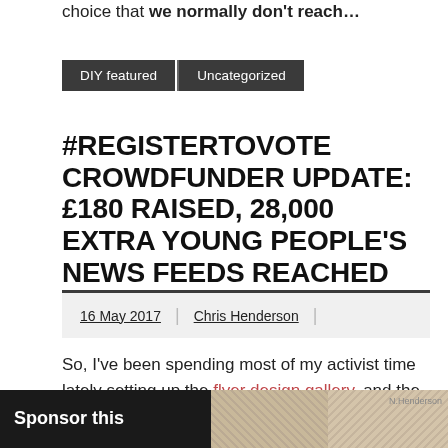choice that we normally don't reach…
DIY featured
Uncategorized
#REGISTERTOVOTE CROWDFUNDER UPDATE: £180 RAISED, 28,000 EXTRA YOUNG PEOPLE'S NEWS FEEDS REACHED
16 May 2017  |  Chris Henderson  |
So, I've been spending most of my activist time lately setting up the flyer design gallery, and the main crowdfunder push for the donation pages set up on this website will be coming within maybe the next week or so…
Sponsor this